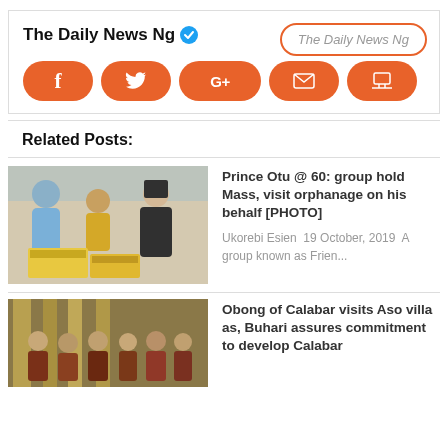The Daily News Ng [verified] [logo]
[Figure (infographic): Social media share buttons: Facebook (f), Twitter (bird icon), Google+ (G+), Email (envelope icon), Website (laptop icon) — all orange rounded pill buttons. An oval outline circles the logo text 'The Daily News Ng'.]
Related Posts:
[Figure (photo): Photo showing a group of people in a room with boxes of supplies being distributed, including a nun in a black habit.]
Prince Otu @ 60: group hold Mass, visit orphanage on his behalf [PHOTO]
Ukorebi Esien 19 October, 2019  A group known as Frien...
[Figure (photo): Photo showing a group of people in traditional attire standing in a decorated hall.]
Obong of Calabar visits Aso villa as, Buhari assures commitment to develop Calabar